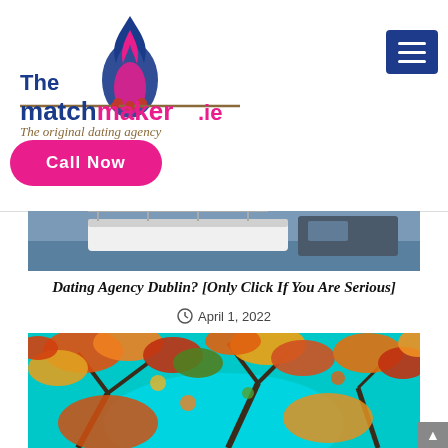[Figure (logo): The Matchmaker.ie logo with flame icon and tagline 'The original dating agency']
[Figure (other): Blue square hamburger/menu button with three white horizontal lines]
Call Now
[Figure (photo): Partial photo of a boat on water]
Dating Agency Dublin? [Only Click If You Are Serious]
April 1, 2022
[Figure (photo): Autumn trees with orange, red, yellow leaves and blue sky visible through branches]